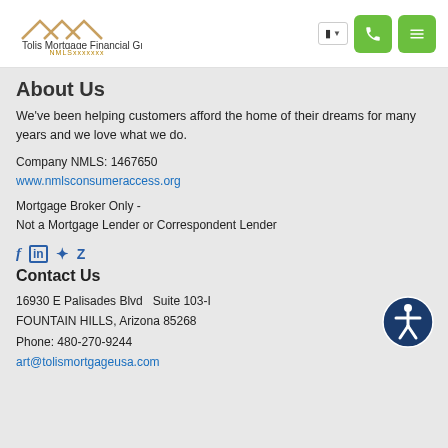[Figure (logo): Tolis Mortgage Financial Group logo with house roofline graphic and text 'Tolis Mortgage Financial Group' and 'NMLSxxxxxxx' below]
About Us
We've been helping customers afford the home of their dreams for many years and we love what we do.
Company NMLS: 1467650
www.nmlsconsumeraccess.org
Mortgage Broker Only -
Not a Mortgage Lender or Correspondent Lender
[Figure (illustration): Social media icons: Facebook (f), LinkedIn (in), Yelp (*), Zillow (Z)]
Contact Us
16930 E Palisades Blvd  Suite 103-I
FOUNTAIN HILLS, Arizona 85268
Phone: 480-270-9244
art@tolismortgageusa.com